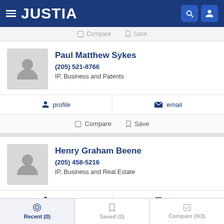JUSTIA
Compare  Save
Paul Matthew Sykes
(205) 521-8766
IP, Business and Patents
profile  email
Compare  Save
Henry Graham Beene
(205) 458-5216
IP, Business and Real Estate
profile  email
Recent (0)  Saved (0)  Compare (0/3)